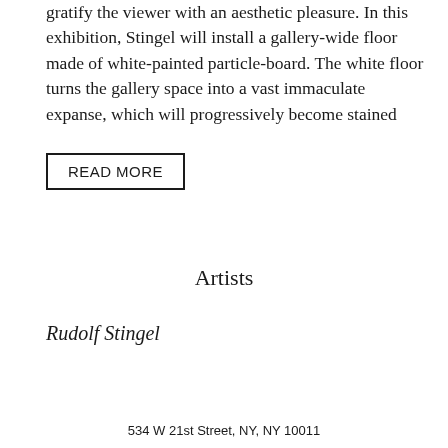gratify the viewer with an aesthetic pleasure. In this exhibition, Stingel will install a gallery-wide floor made of white-painted particle-board. The white floor turns the gallery space into a vast immaculate expanse, which will progressively become stained
READ MORE
Artists
Rudolf Stingel
534 W 21st Street, NY, NY 10011